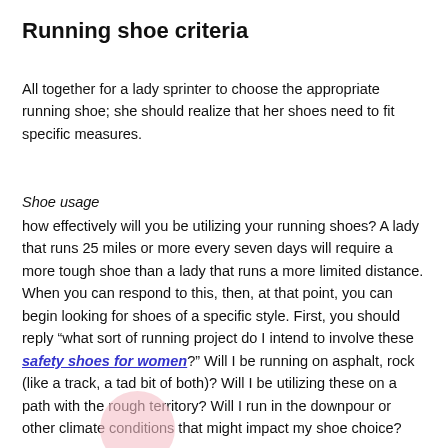Running shoe criteria
All together for a lady sprinter to choose the appropriate running shoe; she should realize that her shoes need to fit specific measures.
Shoe usage
how effectively will you be utilizing your running shoes? A lady that runs 25 miles or more every seven days will require a more tough shoe than a lady that runs a more limited distance. When you can respond to this, then, at that point, you can begin looking for shoes of a specific style. First, you should reply “what sort of running project do I intend to involve these safety shoes for women?” Will I be running on asphalt, rock (like a track, a tad bit of both)? Will I be utilizing these on a path with the rough territory? Will I run in the downpour or other climate conditions that might impact my shoe choice?